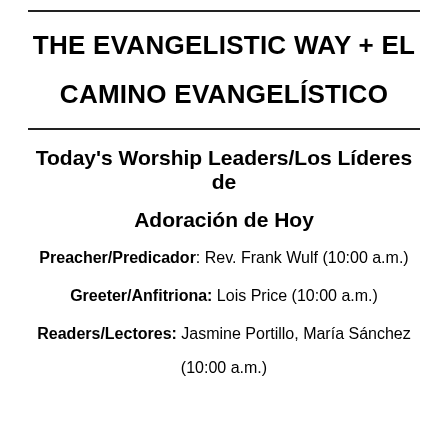THE EVANGELISTIC WAY + EL CAMINO EVANGELÍSTICO
Today's Worship Leaders/Los Líderes de Adoración de Hoy
Preacher/Predicador: Rev. Frank Wulf (10:00 a.m.)
Greeter/Anfitriona: Lois Price (10:00 a.m.)
Readers/Lectores: Jasmine Portillo, María Sánchez (10:00 a.m.)